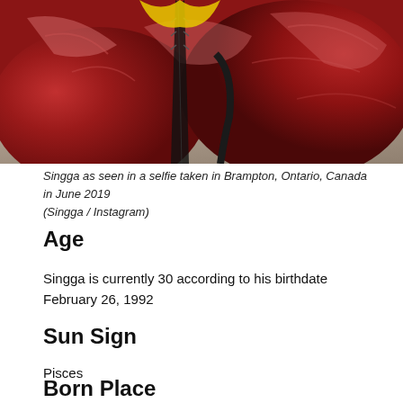[Figure (photo): Close-up photo of a person wearing a shiny dark red/maroon puffer jacket with a zipper visible, taken as a selfie in Brampton, Ontario, Canada in June 2019.]
Singga as seen in a selfie taken in Brampton, Ontario, Canada in June 2019 (Singga / Instagram)
Age
Singga is currently 30 according to his birthdate February 26, 1992
Sun Sign
Pisces
Born Place